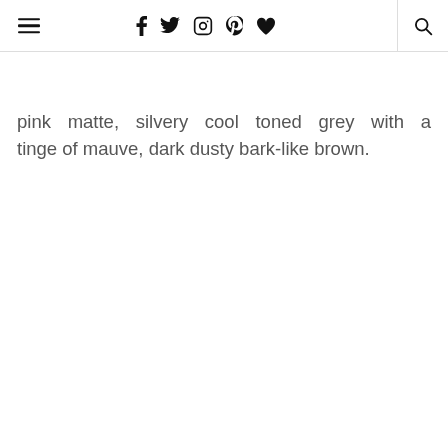≡  f  𝕥  ⊙  𝕡  ♥  🔍
pink matte, silvery cool toned grey with a tinge of mauve, dark dusty bark-like brown.